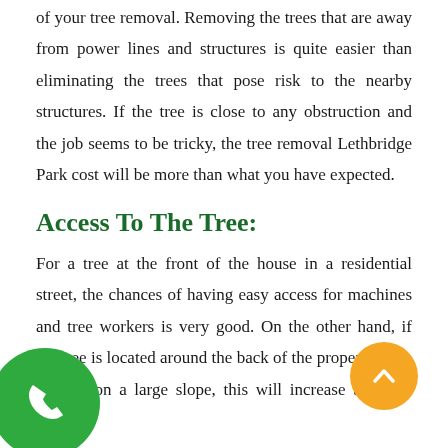of your tree removal. Removing the trees that are away from power lines and structures is quite easier than eliminating the trees that pose risk to the nearby structures. If the tree is close to any obstruction and the job seems to be tricky, the tree removal Lethbridge Park cost will be more than what you have expected.
Access To The Tree:
For a tree at the front of the house in a residential street, the chances of having easy access for machines and tree workers is very good. On the other hand, if the tree is located around the back of the property, with no s, on a large slope, this will increase th ce removal.